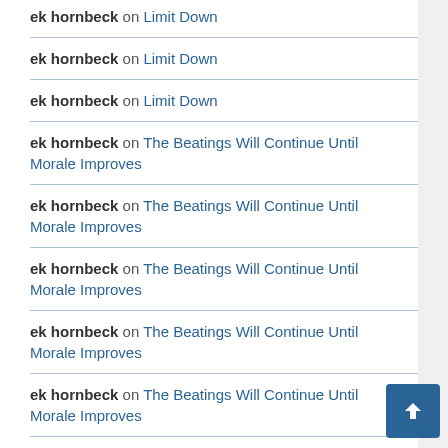ek hornbeck on Limit Down
ek hornbeck on Limit Down
ek hornbeck on Limit Down
ek hornbeck on The Beatings Will Continue Until Morale Improves
ek hornbeck on The Beatings Will Continue Until Morale Improves
ek hornbeck on The Beatings Will Continue Until Morale Improves
ek hornbeck on The Beatings Will Continue Until Morale Improves
ek hornbeck on The Beatings Will Continue Until Morale Improves
ek hornbeck on The Beatings Will Continue Until Morale Improves